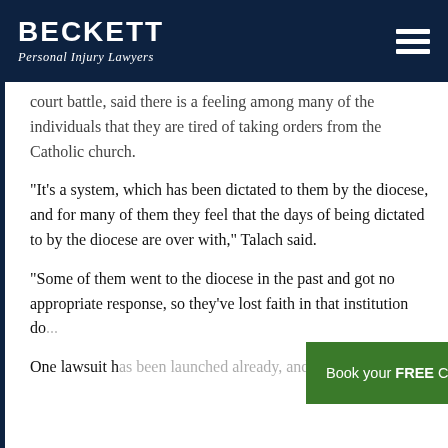BECKETT Personal Injury Lawyers
court battle, said there is a feeling among many of the individuals that they are tired of taking orders from the Catholic church.
"It's a system, which has been dictated to them by the diocese, and for many of them they feel that the days of being dictated to by the diocese are over with," Talach said.
"Some of them went to the diocese in the past and got no appropriate response, so they've lost faith in that institution do...
One lawsuit has been launched already, and he said